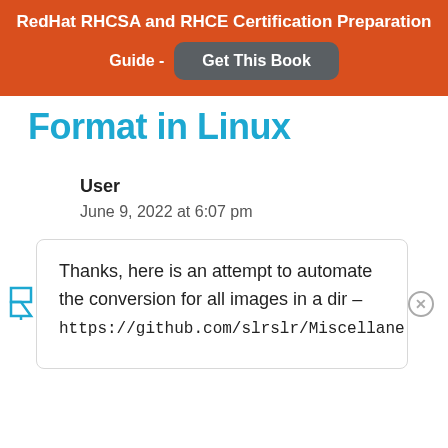RedHat RHCSA and RHCE Certification Preparation Guide - Get This Book
Format in Linux
User
June 9, 2022 at 6:07 pm
Thanks, here is an attempt to automate the conversion for all images in a dir – https://github.com/slrslr/Miscellane